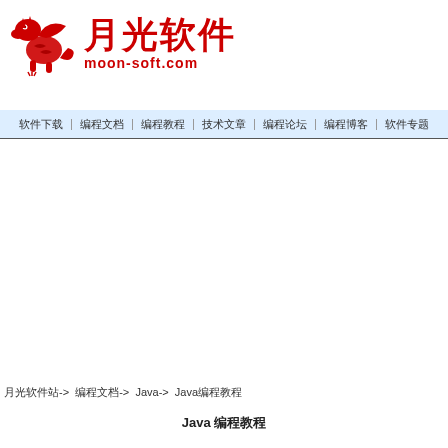[Figure (logo): 月光软件 moon-soft.com logo with red dragon and Chinese characters]
软件下载 | 编程文档 | 编程教程 | 技术文章 | 编程论坛 | 编程博客 | 软件专题
月光软件站-> 编程文档-> Java-> Java编程教程
Java 编程教程